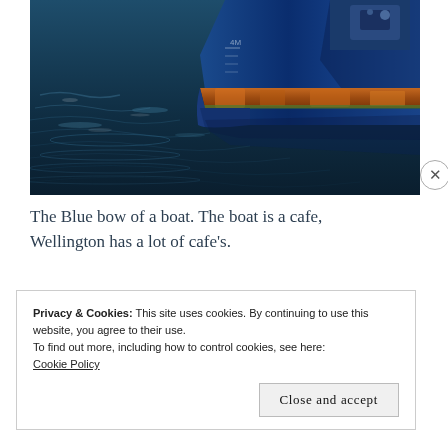[Figure (photo): Close-up photograph of the blue bow of a boat at the waterline, showing rust and barnacles along the hull where it meets the dark reflective water.]
The Blue bow of a boat. The boat is a cafe, Wellington has a lot of cafe's.
Privacy & Cookies: This site uses cookies. By continuing to use this website, you agree to their use.
To find out more, including how to control cookies, see here:
Cookie Policy
Close and accept